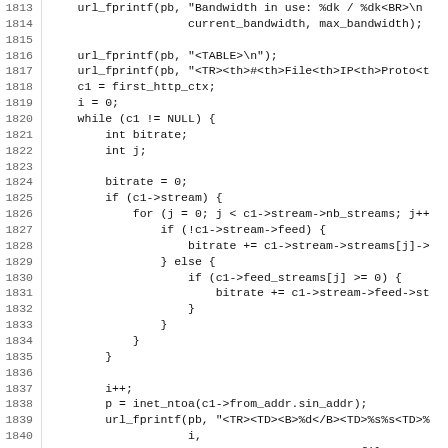Source code listing lines 1813-1844, C programming language code showing HTML status page generation with bandwidth display and HTTP context loop